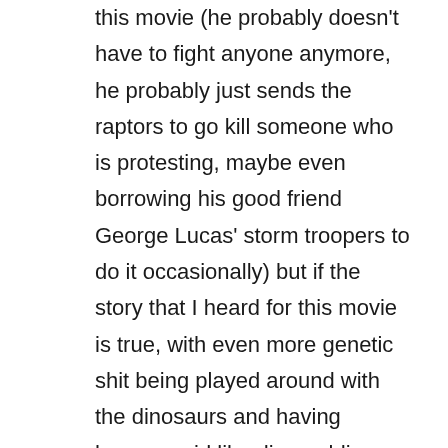this movie (he probably doesn't have to fight anyone anymore, he probably just sends the raptors to go kill someone who is protesting, maybe even borrowing his good friend George Lucas' storm troopers to do it occasionally) but if the story that I heard for this movie is true, with even more genetic shit being played around with the dinosaurs and having human-noid like dino-soldiers fighting against human soldiers, I think I might pass. Unless for some crazy reason they can actually get a good movie out of Jurassic Park. Not that JPIII was that bad, but it wasn't that good either. I honestly think that I could come